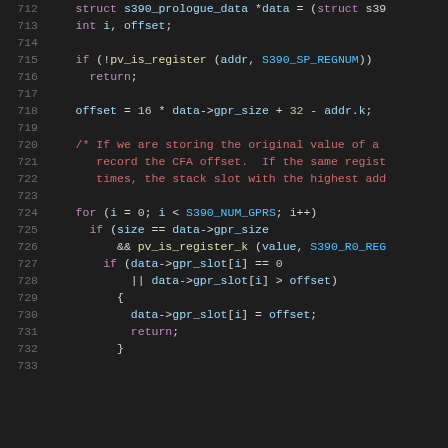[Figure (screenshot): Source code listing showing C code for a function handling S390 prologue data, lines 712-733, with syntax highlighting on dark background. Keywords in purple/red, numbers in green, comments in red/orange, variables in light blue.]